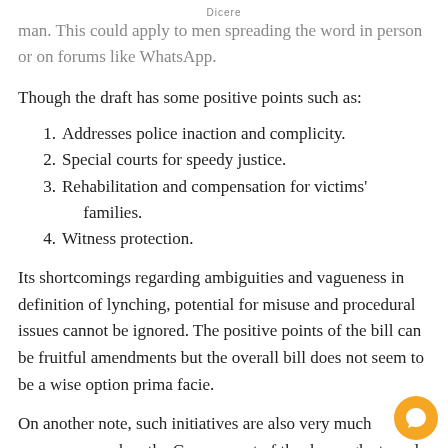Dicere
man. This could apply to men spreading the word in person or on forums like WhatsApp.
Though the draft has some positive points such as:
Addresses police inaction and complicity.
Special courts for speedy justice.
Rehabilitation and compensation for victims' families.
Witness protection.
Its shortcomings regarding ambiguities and vagueness in definition of lynching, potential for misuse and procedural issues cannot be ignored. The positive points of the bill can be fruitful amendments but the overall bill does not seem to be a wise option prima facie.
On another note, such initiatives are also very much necessary as when the Government of the day neglects and